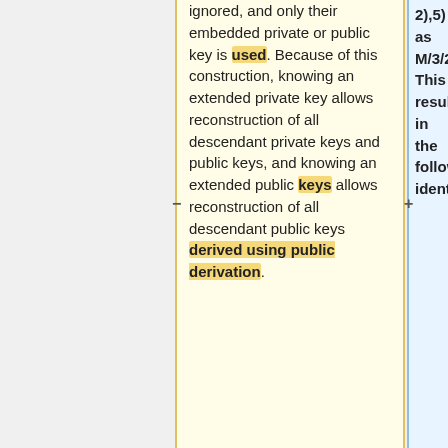ignored, and only their embedded private or public key is used. Because of this construction, knowing an extended private key allows reconstruction of all descendant private keys and public keys, and knowing an extended public keys allows reconstruction of all descendant public keys derived using public derivation.
2),5) as M/3/2/5. This results in the following identities: